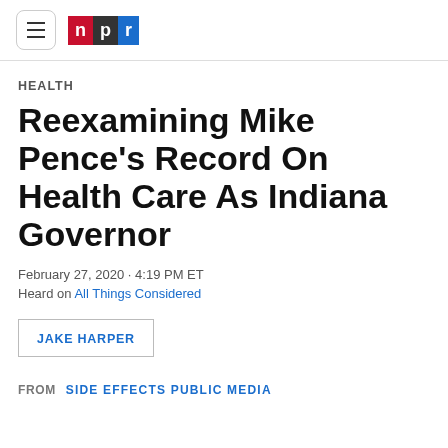NPR navigation header with menu button and NPR logo
HEALTH
Reexamining Mike Pence's Record On Health Care As Indiana Governor
February 27, 2020 · 4:19 PM ET
Heard on All Things Considered
JAKE HARPER
FROM  SIDE EFFECTS PUBLIC MEDIA